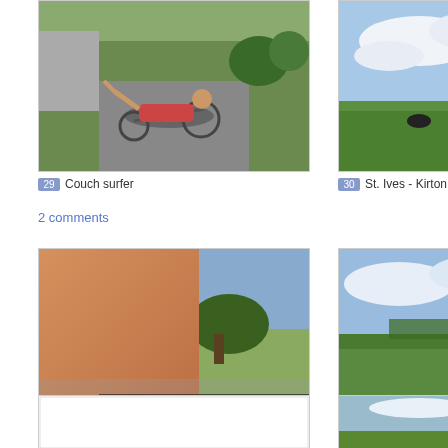[Figure (photo): Person riding a recumbent bicycle on a road]
29 Couch surfer
[Figure (photo): Green flat field with cows and cloudy sky]
30 St. Ives - Kirton
2 comments
[Figure (photo): Close-up of tanned arm/leg with countryside in background]
31 St. Ives - Kirkton
[Figure (photo): Canal or river through flat green fields with cloudy sky]
32 St. Ives - Kirkton
[Figure (photo): White/blank image placeholder]
[Figure (photo): Selfie of person with helmet against cloudy sky and green fields]